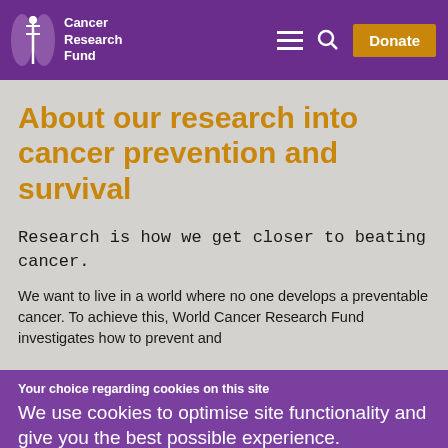Cancer Research Fund — navigation header with logo, hamburger menu, search icon, and Donate button
About our research into cancer prevention and survival
Research is how we get closer to beating cancer.
We want to live in a world where no one develops a preventable cancer. To achieve this, World Cancer Research Fund investigates how to prevent and
Your choice regarding cookies on this site
We use cookies to optimise site functionality and give you the best possible experience.